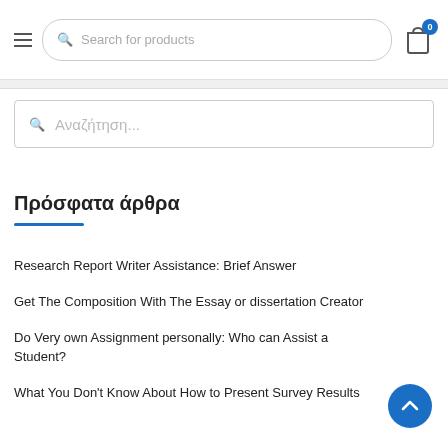Search for products | Cart 0
Αναζήτηση...
Πρόσφατα άρθρα
Research Report Writer Assistance: Brief Answer
Get The Composition With The Essay or dissertation Creator
Do Very own Assignment personally: Who can Assist a Student?
What You Don't Know About How to Present Survey Results